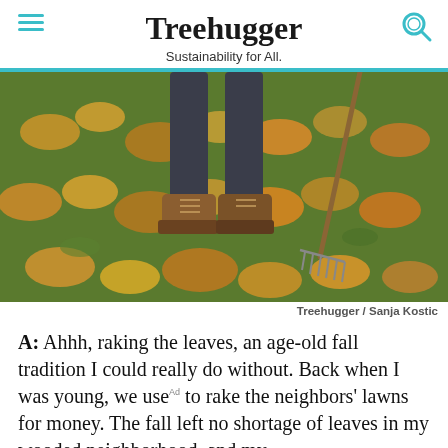Treehugger — Sustainability for All.
[Figure (photo): Person's legs wearing brown boots standing on a grass lawn covered in autumn fallen leaves, with a metal garden rake visible to the right. The scene shows a wooded yard in fall.]
Treehugger / Sanja Kostic
A: Ahhh, raking the leaves, an age-old fall tradition I could really do without. Back when I was young, we use to rake the neighbors' lawns for money. The fall left no shortage of leaves in my wooded neighborhood, and my